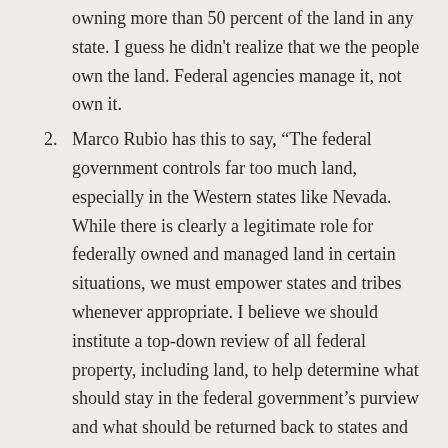owning more than 50 percent of the land in any state. I guess he didn’t realize that we the people own the land. Federal agencies manage it, not own it.
2. Marco Rubio has this to say, “The federal government controls far too much land, especially in the Western states like Nevada. While there is clearly a legitimate role for federally owned and managed land in certain situations, we must empower states and tribes whenever appropriate. I believe we should institute a top-down review of all federal property, including land, to help determine what should stay in the federal government’s purview and what should be returned back to states and localities.”
3. [partial — cut off]